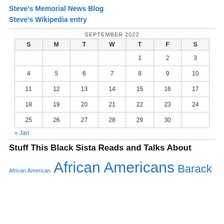Steve's Memorial News Blog
Steve's Wikipedia entry
| S | M | T | W | T | F | S |
| --- | --- | --- | --- | --- | --- | --- |
|  |  |  |  | 1 | 2 | 3 |
| 4 | 5 | 6 | 7 | 8 | 9 | 10 |
| 11 | 12 | 13 | 14 | 15 | 16 | 17 |
| 18 | 19 | 20 | 21 | 22 | 23 | 24 |
| 25 | 26 | 27 | 28 | 29 | 30 |  |
« Jan
Stuff This Black Sista Reads and Talks About
African American  African Americans  Barack